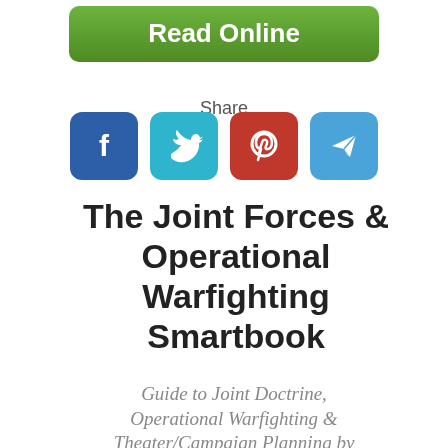[Figure (other): Green Read Online button at top]
Share
[Figure (other): Four social media icons: Facebook, Twitter, Pinterest, Telegram]
The Joint Forces & Operational Warfighting Smartbook
Guide to Joint Doctrine, Operational Warfighting & Theater/Campaign Planning by